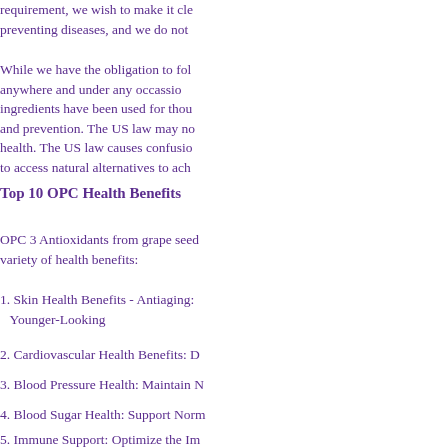requirement, we wish to make it cle... preventing diseases, and we do not
While we have the obligation to fol... anywhere and under any occassion, ingredients have been used for thou... and prevention. The US law may no... health. The US law causes confusion to access natural alternatives to ach...
Top 10 OPC Health Benefits
OPC 3 Antioxidants from grape seed... variety of health benefits:
1. Skin Health Benefits - Antiaging: Younger-Looking
2. Cardiovascular Health Benefits: D
3. Blood Pressure Health: Maintain N
4. Blood Sugar Health: Support Norm
5. Immune Support: Optimize the Im